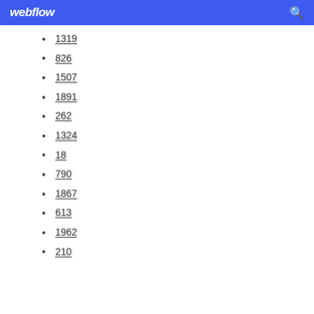webflow
1319
826
1507
1891
262
1324
18
790
1867
613
1962
210